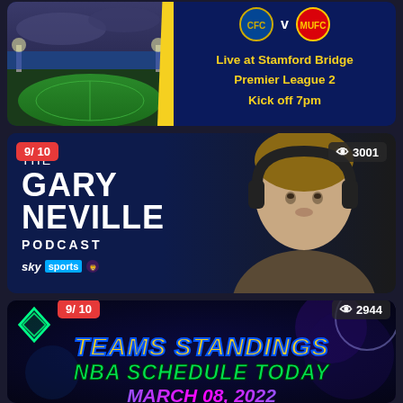[Figure (screenshot): Chelsea vs Manchester United match card showing Stamford Bridge stadium photo on left, team logos and match info on right: Live at Stamford Bridge, Premier League 2, Kick off 7pm]
[Figure (screenshot): The Gary Neville Podcast card on Sky Sports, rated 9/10 with 3001 views, showing Gary Neville wearing headphones]
[Figure (screenshot): Teams Standings NBA Schedule Today March 08 2022, rated 9/10 with 2944 views, colorful thumbnail with diamond decoration]